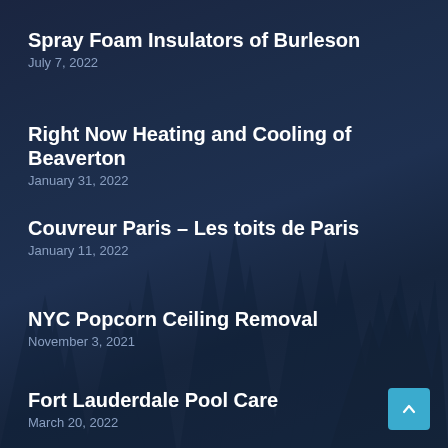Spray Foam Insulators of Burleson
July 7, 2022
Right Now Heating and Cooling of Beaverton
January 31, 2022
Couvreur Paris – Les toits de Paris
January 11, 2022
NYC Popcorn Ceiling Removal
November 3, 2021
Fort Lauderdale Pool Care
March 20, 2022